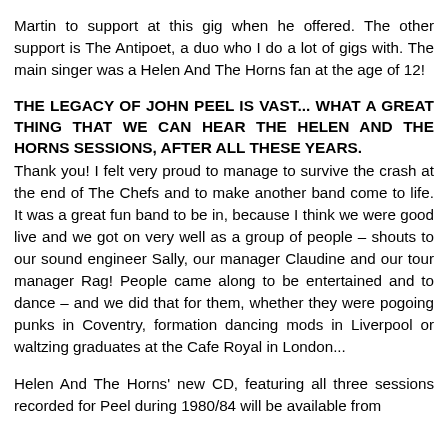Martin to support at this gig when he offered. The other support is The Antipoet, a duo who I do a lot of gigs with. The main singer was a Helen And The Horns fan at the age of 12!
THE LEGACY OF JOHN PEEL IS VAST... WHAT A GREAT THING THAT WE CAN HEAR THE HELEN AND THE HORNS SESSIONS, AFTER ALL THESE YEARS.
Thank you! I felt very proud to manage to survive the crash at the end of The Chefs and to make another band come to life. It was a great fun band to be in, because I think we were good live and we got on very well as a group of people – shouts to our sound engineer Sally, our manager Claudine and our tour manager Rag! People came along to be entertained and to dance – and we did that for them, whether they were pogoing punks in Coventry, formation dancing mods in Liverpool or waltzing graduates at the Cafe Royal in London...
Helen And The Horns' new CD, featuring all three sessions recorded for Peel during 1980/84 will be available from...